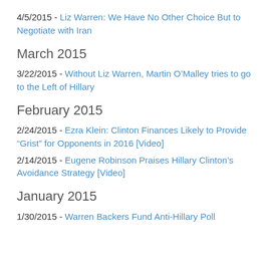4/5/2015 - Liz Warren: We Have No Other Choice But to Negotiate with Iran
March 2015
3/22/2015 - Without Liz Warren, Martin O’Malley tries to go to the Left of Hillary
February 2015
2/24/2015 - Ezra Klein: Clinton Finances Likely to Provide “Grist” for Opponents in 2016 [Video]
2/14/2015 - Eugene Robinson Praises Hillary Clinton’s Avoidance Strategy [Video]
January 2015
1/30/2015 - Warren Backers Fund Anti-Hillary Poll